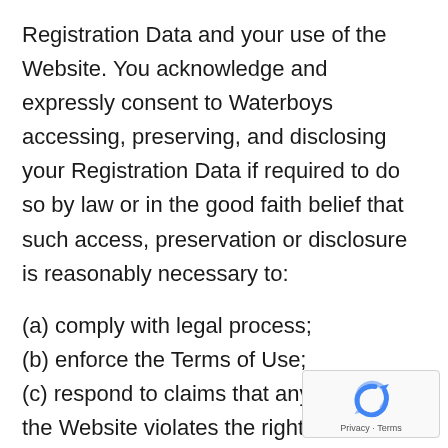Registration Data and your use of the Website. You acknowledge and expressly consent to Waterboys accessing, preserving, and disclosing your Registration Data if required to do so by law or in the good faith belief that such access, preservation or disclosure is reasonably necessary to:
(a) comply with legal process;
(b) enforce the Terms of Use;
(c) respond to claims that any content on the Website violates the rights of third-parties;
(d) respond to your requests for customer